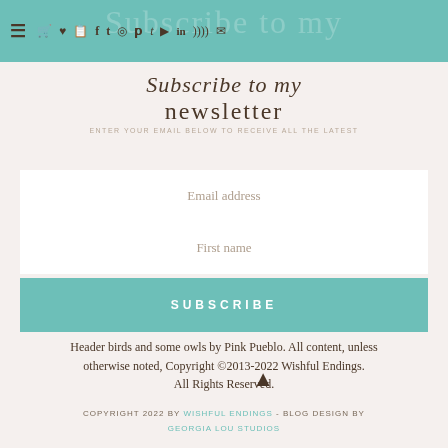Subscribe to my newsletter
Email address
First name
SUBSCRIBE
Header birds and some owls by Pink Pueblo. All content, unless otherwise noted, Copyright ©2013-2022 Wishful Endings. All Rights Reserved.
COPYRIGHT 2022 BY WISHFUL ENDINGS - BLOG DESIGN BY GEORGIA LOU STUDIOS